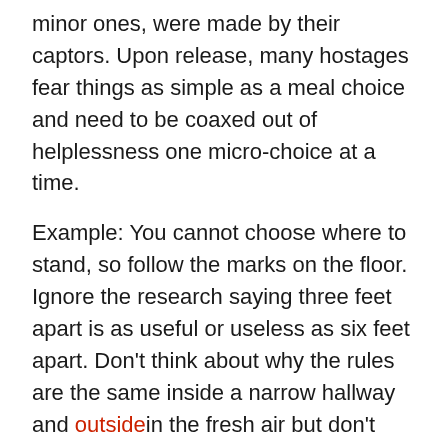minor ones, were made by their captors. Upon release, many hostages fear things as simple as a meal choice and need to be coaxed out of helplessness one micro-choice at a time.
Example: You cannot choose where to stand, so follow the marks on the floor. Ignore the research saying three feet apart is as useful or useless as six feet apart. Don't think about why the rules are the same inside a narrow hallway and outside in the fresh air but don't apply at all on airplanes.
Kin to learned helplessness are enforcers.